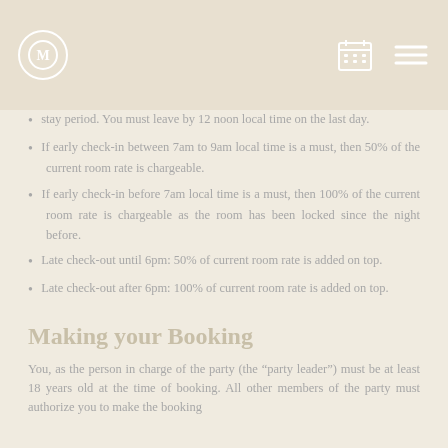[Navigation header with logo and icons]
stay period. You must leave by 12 noon local time on the last day.
If early check-in between 7am to 9am local time is a must, then 50% of the current room rate is chargeable.
If early check-in before 7am local time is a must, then 100% of the current room rate is chargeable as the room has been locked since the night before.
Late check-out until 6pm: 50% of current room rate is added on top.
Late check-out after 6pm: 100% of current room rate is added on top.
Making your Booking
You, as the person in charge of the party (the "party leader") must be at least 18 years old at the time of booking. All other members of the party must authorize you to make the booking on their behalf and to agree to all the booking conditions.